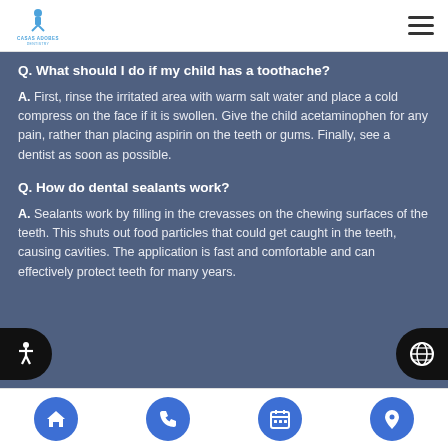Casas Adobes Dentistry logo and navigation menu
Q. What should I do if my child has a toothache?
A. First, rinse the irritated area with warm salt water and place a cold compress on the face if it is swollen. Give the child acetaminophen for any pain, rather than placing aspirin on the teeth or gums. Finally, see a dentist as soon as possible.
Q. How do dental sealants work?
A. Sealants work by filling in the crevasses on the chewing surfaces of the teeth. This shuts out food particles that could get caught in the teeth, causing cavities. The application is fast and comfortable and can effectively protect teeth for many years.
Home | Phone | Calendar | Location navigation icons